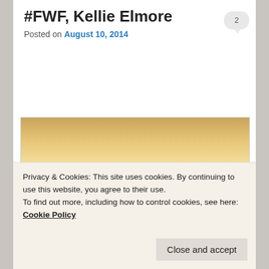#FWF, Kellie Elmore
Posted on August 10, 2014
[Figure (photo): Aged typewriter paper with text: She lit a cigarette / with bundles of tears / racing down her cheeks, / and after her lips somehow]
Privacy & Cookies: This site uses cookies. By continuing to use this website, you agree to their use.
To find out more, including how to control cookies, see here: Cookie Policy
Close and accept